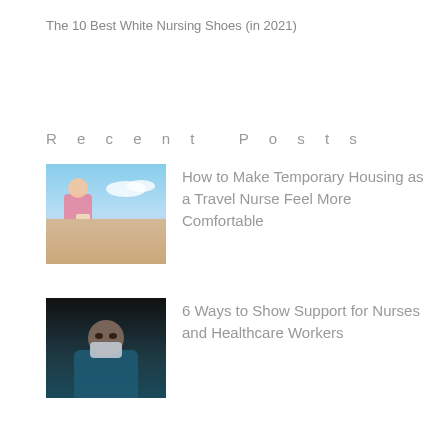The 10 Best White Nursing Shoes (in 2021)
Recent Posts
[Figure (photo): A nurse in pink scrubs holding a clipboard with a plane and sky in the background]
How to Make Temporary Housing as a Travel Nurse Feel More Comfortable
[Figure (photo): A healthcare worker wearing a surgical mask and blue scrubs against a dark background]
6 Ways to Show Support for Nurses and Healthcare Workers